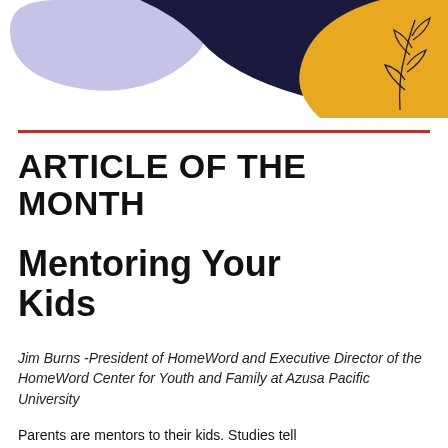[Figure (illustration): Decorative header illustration with lavender and dark navy abstract shapes on the left, and a gold/yellow shape with a dark navy botanical leaf/branch line drawing on the right, against a white background.]
ARTICLE OF THE MONTH
Mentoring Your Kids
Jim Burns -President of HomeWord and Executive Director of the HomeWord Center for Youth and Family at Azusa Pacific University
Parents are mentors to their kids. Studies tell